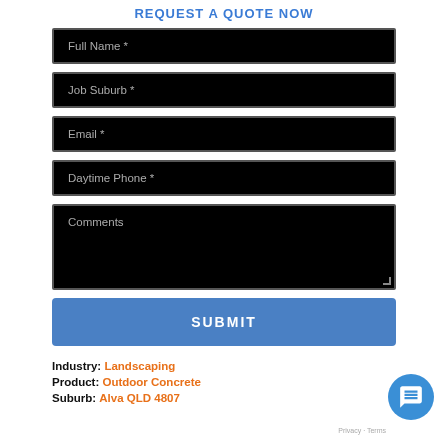REQUEST A QUOTE NOW
[Figure (screenshot): Web form with black input fields for Full Name, Job Suburb, Email, Daytime Phone, Comments, and a blue SUBMIT button]
Industry: Landscaping
Product: Outdoor Concrete
Suburb: Alva QLD 4807